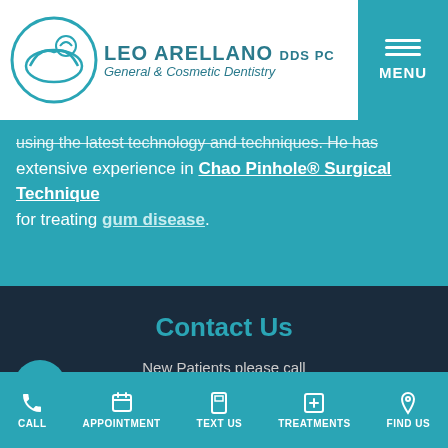[Figure (logo): Leo Arellano DDS PC logo with circular icon showing dental/wave motif, text reads General & Cosmetic Dentistry]
[Figure (other): Teal hamburger menu button with MENU label]
using the latest technology and techniques. He has extensive experience in Chao Pinhole® Surgical Technique for treating gum disease.
Contact Us
New Patients please call
415-881-4343
Existing Patients please call
415-752-8311
CALL  APPOINTMENT  TEXT US  TREATMENTS  FIND US